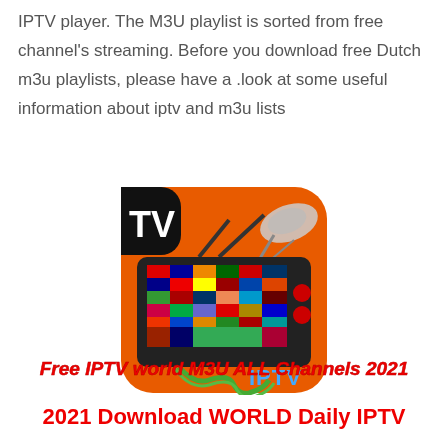IPTV player. The M3U playlist is sorted from free channel's streaming. Before you download free Dutch m3u playlists, please have a .look at some useful information about iptv and m3u lists
[Figure (illustration): IPTV app icon: orange rounded-square background with a black retro TV showing international flags on the screen, satellite dish on top, cable at bottom, and 'IPTV' text in bottom right corner, 'TV' text in top left black area]
Free IPTV world M3U ALL Channels 2021
2021 Download WORLD Daily IPTV